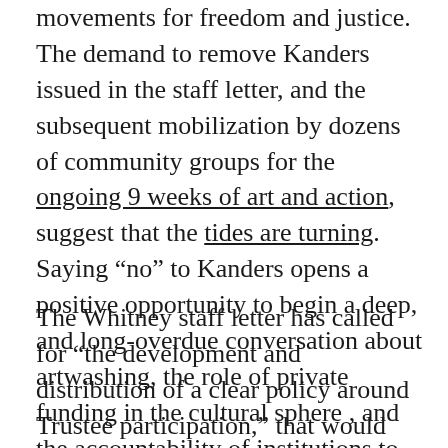movements for freedom and justice. The demand to remove Kanders issued in the staff letter, and the subsequent mobilization by dozens of community groups for the ongoing 9 weeks of art and action, suggest that the tides are turning. Saying “no” to Kanders opens a positive opportunity to begin a deep, and long-overdue conversation about artwashing, the role of private funding in the cultural sphere , and the accountability of institutions to the communities they claim to serve.
The Whitney staff letter has called for "the development and distribution of a clear policy around Trustee participation," that would “clarify what qualifies or disqualifies a wealthy philanthropic individual for the Board. Is there